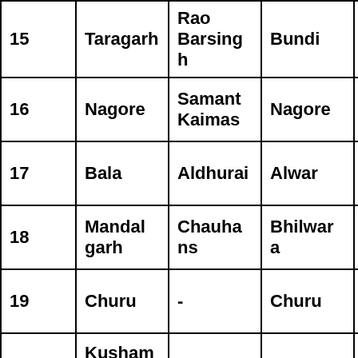| 15 | Taragarh | Rao Barsingh | Bundi | Hada |
| 16 | Nagore | Samant Kaimas | Nagore | Rathore |
| 17 | Bala | Aldhurai | Alwar | Kachwah |
| 18 | Mandalgarh | Chauhans | Bhilwara | Chauhan |
| 19 | Churu | - | Churu | Kayamkhani |
|  | Kusham... |  |  | Rathor... |